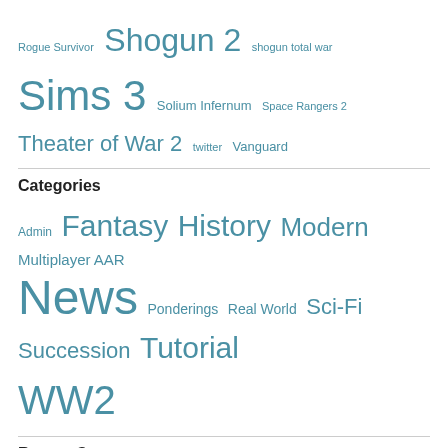Rogue Survivor  Shogun 2  shogun total war  Sims 3  Solium Infernum  Space Rangers 2  Theater of War 2  twitter  Vanguard
Categories
Admin  Fantasy  History  Modern  Multiplayer AAR  News  Ponderings  Real World  Sci-Fi  Succession  Tutorial  WW2
Recent Comments
Fishbreath on Superb Command Ops: Battles fr...
rayzan00 on The Complete and Utter Newby T...
rayzan00 on The Complete and Utter Newby T...